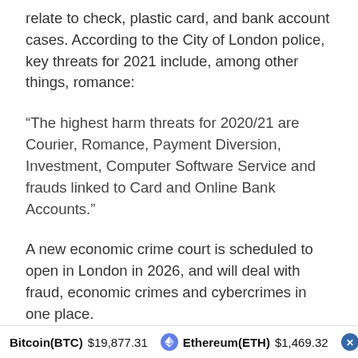relate to check, plastic card, and bank account cases. According to the City of London police, key threats for 2021 include, among other things, romance:
“The highest harm threats for 2020/21 are Courier, Romance, Payment Diversion, Investment, Computer Software Service and frauds linked to Card and Online Bank Accounts.”
A new economic crime court is scheduled to open in London in 2026, and will deal with fraud, economic crimes and cybercrimes in one place.
This article was originally published by Cointelegraph.com. Read the original article here.
Bitcoin(BTC) $19,877.31   Ethereum(ETH) $1,469.32   XRP(